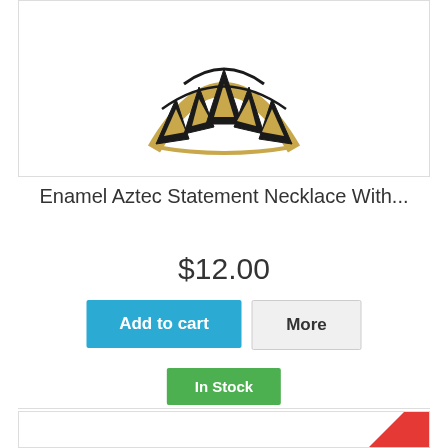[Figure (photo): Black and gold enamel Aztec statement necklace on white background]
Enamel Aztec Statement Necklace With...
$12.00
Add to cart
More
In Stock
Add to Wishlist